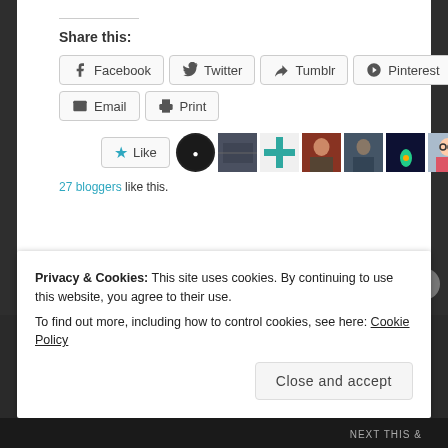Share this:
Facebook  Twitter  Tumblr  Pinterest  Email  Print
[Figure (screenshot): Like button and row of blogger avatar thumbnails]
27 bloggers like this.
Privacy & Cookies: This site uses cookies. By continuing to use this website, you agree to their use.
To find out more, including how to control cookies, see here: Cookie Policy
Close and accept